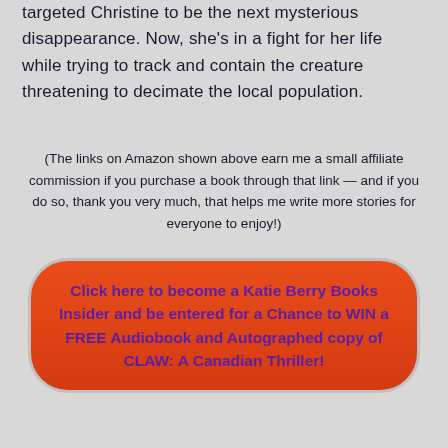targeted Christine to be the next mysterious disappearance. Now, she's in a fight for her life while trying to track and contain the creature threatening to decimate the local population.
(The links on Amazon shown above earn me a small affiliate commission if you purchase a book through that link — and if you do so, thank you very much, that helps me write more stories for everyone to enjoy!)
Click here to become a Katie Berry Books Insider and be entered for a Chance to WIN a FREE Audiobook and Autographed copy of CLAW: A Canadian Thriller!